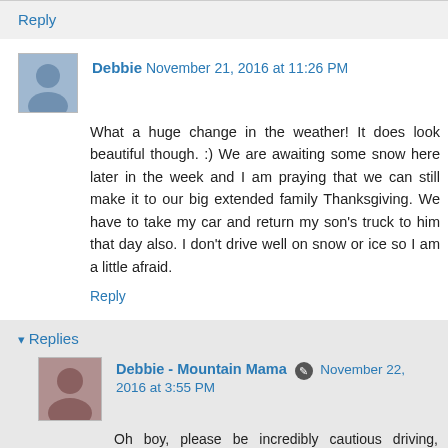Reply
Debbie November 21, 2016 at 11:26 PM
What a huge change in the weather! It does look beautiful though. :) We are awaiting some snow here later in the week and I am praying that we can still make it to our big extended family Thanksgiving. We have to take my car and return my son's truck to him that day also. I don't drive well on snow or ice so I am a little afraid.
Reply
Replies
Debbie - Mountain Mama November 22, 2016 at 3:55 PM
Oh boy, please be incredibly cautious driving, Debbie! I just got my studded tires put on right before the snow, and I'm still a nervous Nellie on the roads!